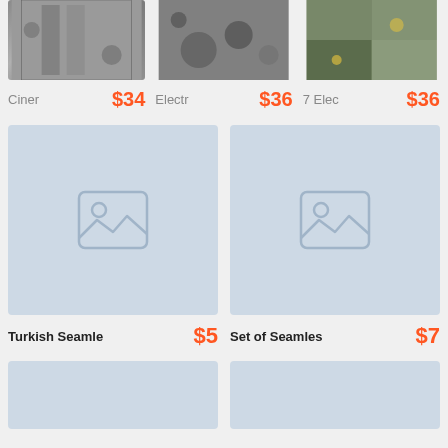[Figure (photo): Top row of three product thumbnail images (metal/electronic scrap textures)]
Ciner $34   Electr $36   7 Elec $36
[Figure (illustration): Turkish Seamless texture product card with placeholder image]
[Figure (illustration): Set of Seamless texture product card with placeholder image]
Turkish Seamle  $5   Set of Seamles  $7
[Figure (illustration): Bottom left product card placeholder]
[Figure (illustration): Bottom right product card placeholder]